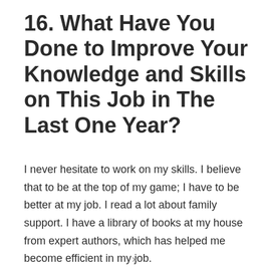16. What Have You Done to Improve Your Knowledge and Skills on This Job in The Last One Year?
I never hesitate to work on my skills. I believe that to be at the top of my game; I have to be better at my job. I read a lot about family support. I have a library of books at my house from expert authors, which has helped me become efficient in my job.